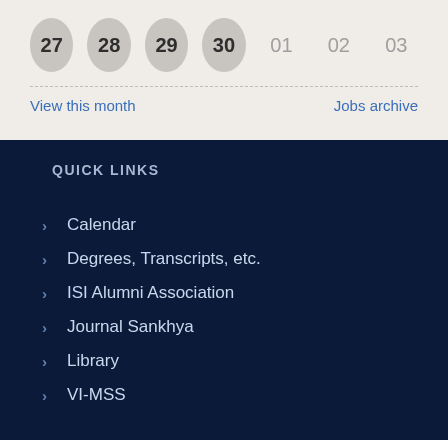[Figure (other): Calendar date row showing dates 27, 28, 29, 30 as filled circles and 01, 02, 03 as plain text]
View this month
Jobs archive
QUICK LINKS
Calendar
Degrees, Transcripts, etc.
ISI Alumni Association
Journal Sankhya
Library
VI-MSS
Anti-Ragging Cell
Internal Complaints